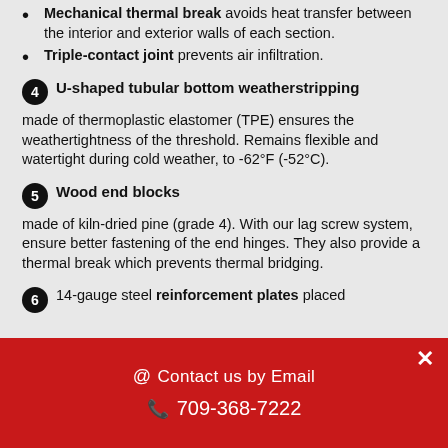Mechanical thermal break avoids heat transfer between the interior and exterior walls of each section.
Triple-contact joint prevents air infiltration.
4 U-shaped tubular bottom weatherstripping made of thermoplastic elastomer (TPE) ensures the weathertightness of the threshold. Remains flexible and watertight during cold weather, to -62°F (-52°C).
5 Wood end blocks made of kiln-dried pine (grade 4). With our lag screw system, ensure better fastening of the end hinges. They also provide a thermal break which prevents thermal bridging.
6 14-gauge steel reinforcement plates placed
@ Contact us by Email   ✆ 709-368-7222